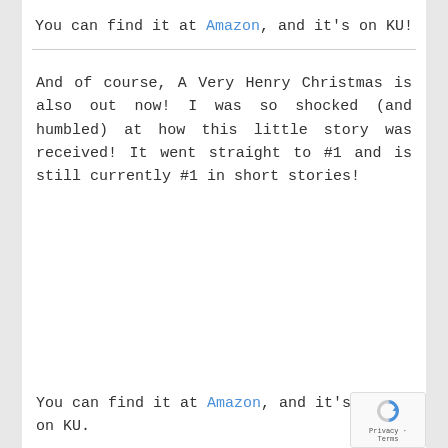You can find it at Amazon, and it's on KU!
And of course, A Very Henry Christmas is also out now! I was so shocked (and humbled) at how this little story was received! It went straight to #1 and is still currently #1 in short stories!
You can find it at Amazon, and it's also on KU.